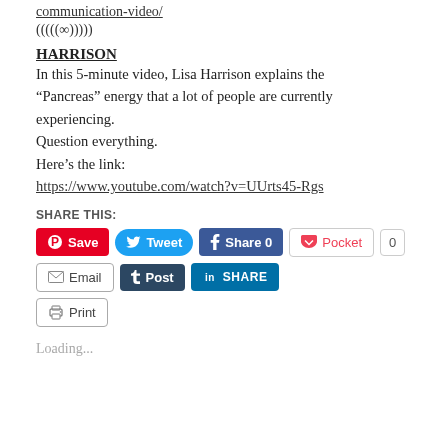communication-video/
(((((∞)))))
HARRISON
In this 5-minute video, Lisa Harrison explains the “Pancreas” energy that a lot of people are currently experiencing.
Question everything.
Here’s the link:
https://www.youtube.com/watch?v=UUrts45-Rgs
SHARE THIS:
[Figure (screenshot): Social share buttons: Save (Pinterest), Tweet (Twitter), Share 0 (Facebook), Pocket, 0 (count), Email, Post (Tumblr), SHARE (LinkedIn), Print]
Loading...